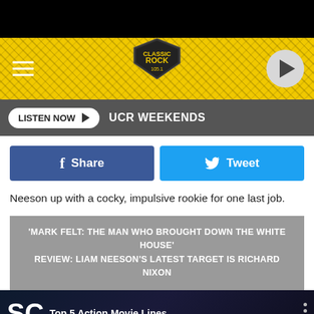[Figure (screenshot): Classic Rock 105.1 radio station yellow banner header with hamburger menu, logo shield, and play button]
LISTEN NOW  UCR WEEKENDS
f Share   Tweet
Neeson up with a cocky, impulsive rookie for one last job.
'MARK FELT: THE MAN WHO BROUGHT DOWN THE WHITE HOUSE' REVIEW: LIAM NEESON'S LATEST TARGET IS RICHARD NIXON
[Figure (screenshot): Video thumbnail showing 'Top 5 Action Movie Lines' with TOP FIVE text and skull character image]